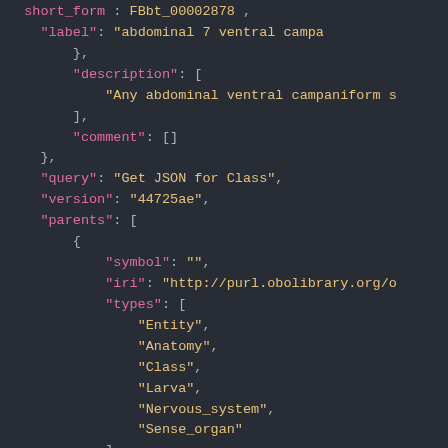[Figure (screenshot): A screenshot of a JSON code viewer with a dark background. The JSON contains fields: short_form (truncated), label (abdominal 7 ventral campa...), description array (Any abdominal ventral campaniform s...), comment array ([]), query (Get JSON for Class), version (44725ae), parents array with an object containing symbol (''), iri (http://purl.obolibrary.org/o...), and types array with Entity, Anatomy, Class, Larva, Nervous_system, Sense_organ.]